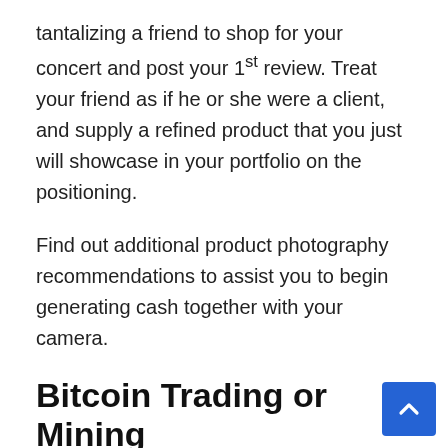tantalizing a friend to shop for your concert and post your 1st review. Treat your friend as if he or she were a client, and supply a refined product that you just will showcase in your portfolio on the positioning.
Find out additional product photography recommendations to assist you to begin generating cash together with your camera.
Bitcoin Trading or Mining
Bitcoin mining is that the method of putting new bitcoins into circulation; it is also however the network confirms new transactions, and it's a very important part of the blockchain ledger's